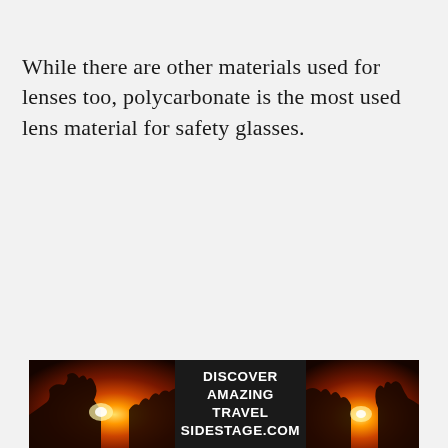While there are other materials used for lenses too, polycarbonate is the most used lens material for safety glasses.
[Figure (infographic): Advertisement banner with two sunset/landscape photos flanking centered text on dark background reading 'DISCOVER AMAZING TRAVEL SIDESTAGE.COM']